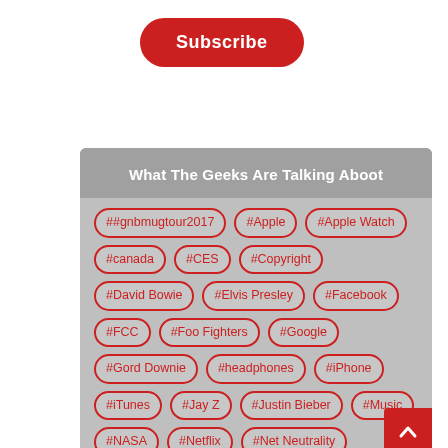Subscribe
What The Geeks Are Talking Aboot
##gnbmugtour2017
#Apple
#Apple Watch
#canada
#CES
#Copyright
#David Bowie
#Elvis Presley
#Facebook
#FCC
#Foo Fighters
#Google
#Gord Downie
#headphones
#iPhone
#iTunes
#Jay Z
#Justin Bieber
#Music
#NASA
#Netflix
#Net Neutrality
#Oasis
#Paul McCartney
#Prince
#radio
#RIP
#Social Media
#Sony
#Spotify
#Star Trek
#Star Wars